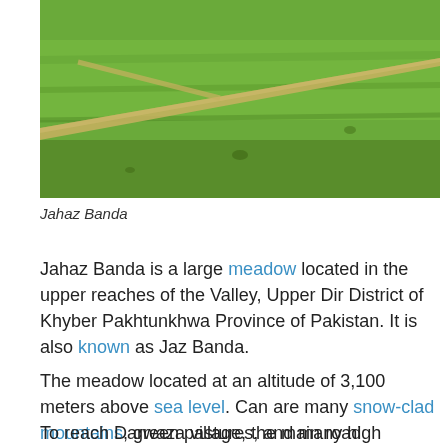[Figure (photo): Aerial or landscape photo of Jahaz Banda, a large green meadow with a diagonal dirt path/road cutting across it]
Jahaz Banda
Jahaz Banda is a large meadow located in the upper reaches of the Valley, Upper Dir District of Khyber Pakhtunkhwa Province of Pakistan. It is also known as Jaz Banda.
The meadow located at an altitude of 3,100 meters above sea level. Can are many snow-clad mountains, green pastures, and many high towering trees that can see in the Jahaz Banda.
To reach Darwaza village, the main road continues to the Upper Dir from the Jahaz Banda. Famous for its high